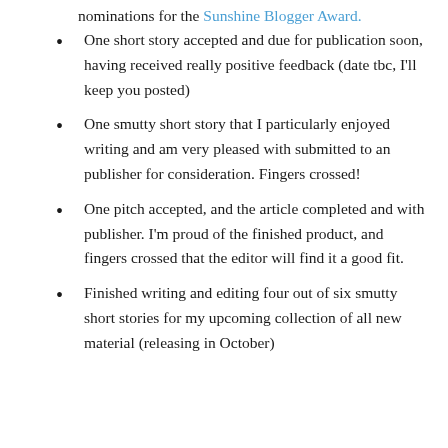nominations for the Sunshine Blogger Award.
One short story accepted and due for publication soon, having received really positive feedback (date tbc, I'll keep you posted)
One smutty short story that I particularly enjoyed writing and am very pleased with submitted to an publisher for consideration. Fingers crossed!
One pitch accepted, and the article completed and with publisher. I'm proud of the finished product, and fingers crossed that the editor will find it a good fit.
Finished writing and editing four out of six smutty short stories for my upcoming collection of all new material (releasing in October)